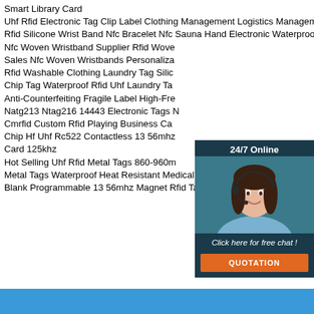Smart Library Card
Uhf Rfid Electronic Tag Clip Label Clothing Management Logistics Management Uhf Iot Passive
Rfid Silicone Wrist Band Nfc Bracelet Nfc Sauna Hand Electronic Waterproof Bracelet
Nfc Woven Wristband Supplier Rfid Wove Sales Nfc Woven Wristbands Personaliza
Rfid Washable Clothing Laundry Tag Silic Chip Tag Waterproof Rfid Uhf Laundry Ta
Anti-Counterfeiting Fragile Label High-Fre
Natg213 Ntag216 14443 Electronic Tags Cmrfid Custom Rfid Playing Business Ca
Chip Hf Uhf Rc522 Contactless 13 56mhz Card 125khz
Hot Selling Uhf Rfid Metal Tags 860-960m Metal Tags Waterproof Heat Resistant Medical Devices Tools Tracking
Blank Programmable 13 56mhz Magnet Rfid Tags Refrigerator Metal Surface
[Figure (infographic): 24/7 Online chat widget with woman wearing headset, 'Click here for free chat!' text, and QUOTATION button]
[Figure (logo): TOP badge logo in orange/red dots style]